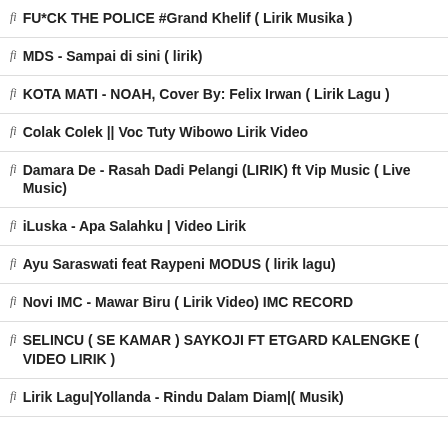fi FU*CK THE POLICE #Grand Khelif ( Lirik Musika )
fi MDS - Sampai di sini ( lirik)
fi KOTA MATI - NOAH, Cover By: Felix Irwan ( Lirik Lagu )
fi Colak Colek || Voc Tuty Wibowo Lirik Video
fi Damara De - Rasah Dadi Pelangi (LIRIK) ft Vip Music ( Live Music)
fi iLuska - Apa Salahku | Video Lirik
fi Ayu Saraswati feat Raypeni MODUS ( lirik lagu)
fi Novi IMC - Mawar Biru ( Lirik Video) IMC RECORD
fi SELINCU ( SE KAMAR ) SAYKOJI FT ETGARD KALENGKE ( VIDEO LIRIK )
fi Lirik Lagu|Yollanda - Rindu Dalam Diam|( Musik)